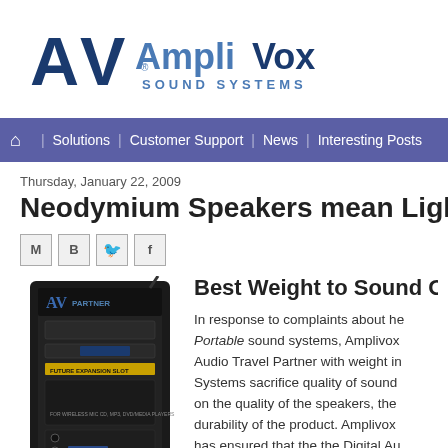[Figure (logo): AV AmpliVox Sound Systems logo in blue and dark blue]
Solutions | Customer Support | News | Interesting Posts
Thursday, January 22, 2009
Neodymium Speakers mean Lighter Weight
[Figure (other): Social share icons: Gmail (M), Blogger (B), Twitter (bird), Facebook (f)]
[Figure (photo): AV AmpliVox Partner portable sound system unit, black, front facing]
Best Weight to Sound Output
In response to complaints about heavy Portable sound systems, Amplivox Audio Travel Partner with weight in Systems sacrifice quality of sound on the quality of the speakers, the durability of the product. Amplivox has ensured that the the Digital Au sounding speakers, a powerful am enclosure. In fact our Digital Audio sound output to weight ratio in the